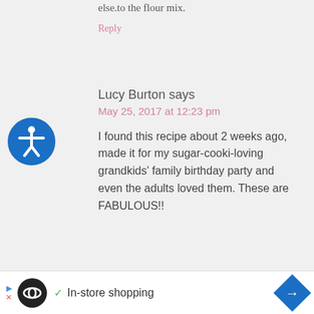else.to the flour mix.
Reply
Lucy Burton says
May 25, 2017 at 12:23 pm
I found this recipe about 2 weeks ago, made it for my sugar-cooki-loving grandkids' family birthday party and even the adults loved them. These are FABULOUS!!
✓ In-store shopping